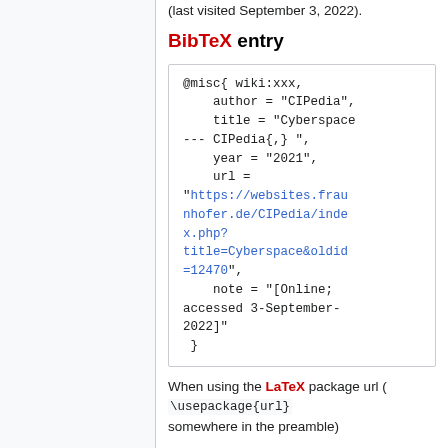(last visited September 3, 2022).
BibTeX entry
@misc{ wiki:xxx,
    author = "CIPedia",
    title = "Cyberspace --- CIPedia{,} ",
    year = "2021",
    url = "https://websites.fraunhofer.de/CIPedia/index.php?title=Cyberspace&oldid=12470",
    note = "[Online; accessed 3-September-2022]"
 }
When using the LaTeX package url ( \usepackage{url} somewhere in the preamble)